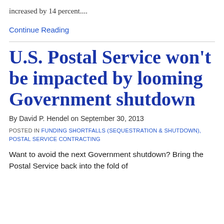increased by 14 percent....
Continue Reading
U.S. Postal Service won't be impacted by looming Government shutdown
By David P. Hendel on September 30, 2013
POSTED IN FUNDING SHORTFALLS (SEQUESTRATION & SHUTDOWN), POSTAL SERVICE CONTRACTING
Want to avoid the next Government shutdown? Bring the Postal Service back into the fold of